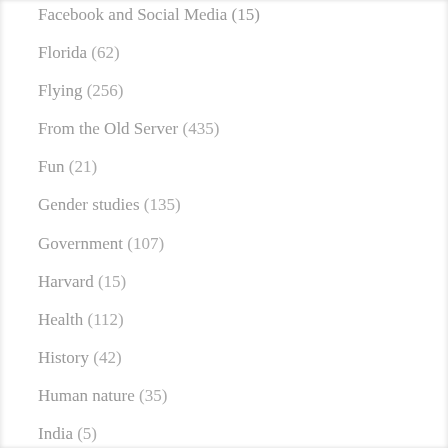Facebook and Social Media (15)
Florida (62)
Flying (256)
From the Old Server (435)
Fun (21)
Gender studies (135)
Government (107)
Harvard (15)
Health (112)
History (42)
Human nature (35)
India (5)
Inflation (20)
Internet (20)